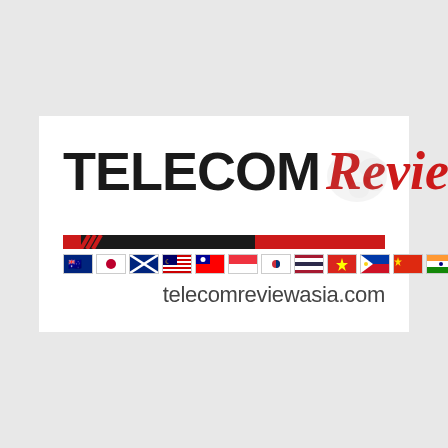[Figure (logo): Telecom Review Asia Pacific logo with flags of Asia-Pacific countries and website URL telecomreviewasia.com]